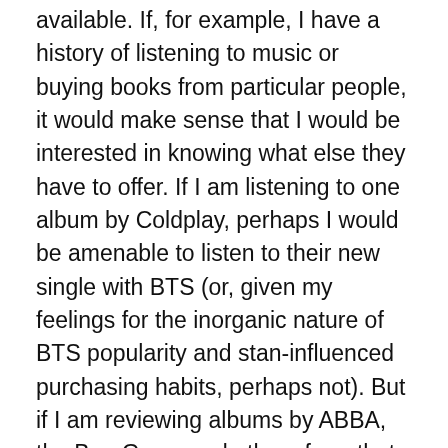available. If, for example, I have a history of listening to music or buying books from particular people, it would make sense that I would be interested in knowing what else they have to offer. If I am listening to one album by Coldplay, perhaps I would be amenable to listen to their new single with BTS (or, given my feelings for the inorganic nature of BTS popularity and stan-influenced purchasing habits, perhaps not). But if I am reviewing albums by ABBA, the Bee Gees, and others from that era, it would not be likely that I would be interested in reviewing the latest hip hop releases, and would probably not be as interested in them. No matter how much someone pushes something I don't want to listen to, I am not going to want to listen to it, and yet there are a great many people (and a great many government agencies) who think that people can be pushed through unwanted marketing into doing what they do not want to do, preferring to stop them